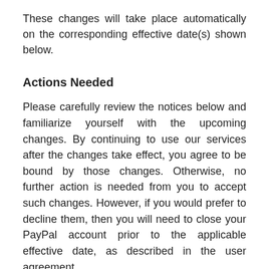These changes will take place automatically on the corresponding effective date(s) shown below.
Actions Needed
Please carefully review the notices below and familiarize yourself with the upcoming changes. By continuing to use our services after the changes take effect, you agree to be bound by those changes. Otherwise, no further action is needed from you to accept such changes. However, if you would prefer to decline them, then you will need to close your PayPal account prior to the applicable effective date, as described in the user agreement.